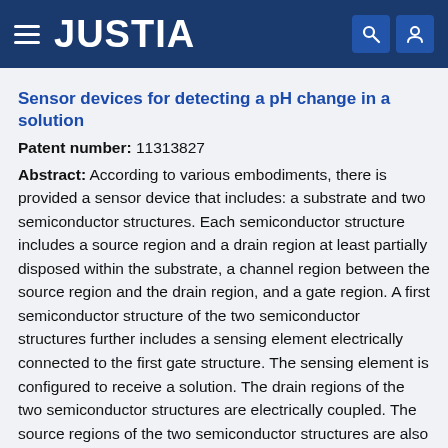JUSTIA
Sensor devices for detecting a pH change in a solution
Patent number: 11313827
Abstract: According to various embodiments, there is provided a sensor device that includes: a substrate and two semiconductor structures. Each semiconductor structure includes a source region and a drain region at least partially disposed within the substrate, a channel region between the source region and the drain region, and a gate region. A first semiconductor structure of the two semiconductor structures further includes a sensing element electrically connected to the first gate structure. The sensing element is configured to receive a solution. The drain regions of the two semiconductor structures are electrically coupled. The source regions of the two semiconductor structures are also electrically